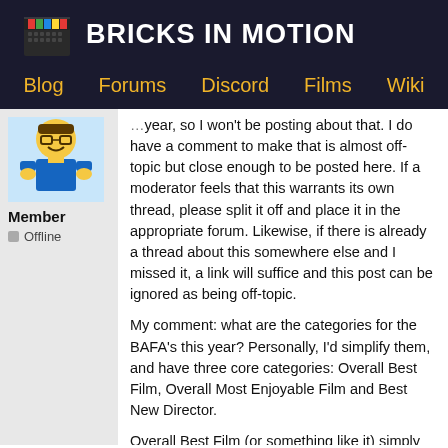BRICKS IN MOTION
Blog  Forums  Discord  Films  Wiki
[Figure (photo): LEGO minifigure avatar with glasses and blue shirt]
Member
Offline
year, so I won't be posting about that. I do have a comment to make that is almost off-topic but close enough to be posted here. If a moderator feels that this warrants its own thread, please split it off and place it in the appropriate forum. Likewise, if there is already a thread about this somewhere else and I missed it, a link will suffice and this post can be ignored as being off-topic.
My comment: what are the categories for the BAFA's this year? Personally, I'd simplify them, and have three core categories: Overall Best Film, Overall Most Enjoyable Film and Best New Director.
Overall Best Film (or something like it) simply means "the best brickfilm of 2008". The best story, the best technical qualities, the best music